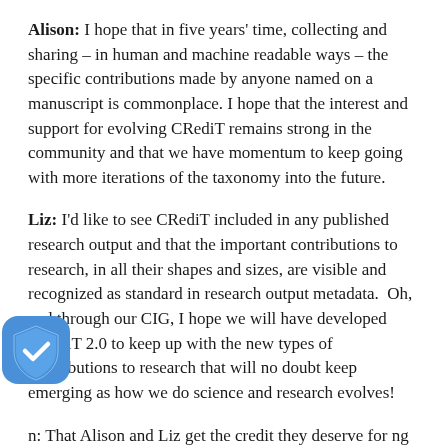Alison: I hope that in five years' time, collecting and sharing – in human and machine readable ways – the specific contributions made by anyone named on a manuscript is commonplace. I hope that the interest and support for evolving CRediT remains strong in the community and that we have momentum to keep going with more iterations of the taxonomy into the future.
Liz: I'd like to see CRediT included in any published research output and that the important contributions to research, in all their shapes and sizes, are visible and recognized as standard in research output metadata.  Oh, and through our CIG, I hope we will have developed CRediT 2.0 to keep up with the new types of contributions to research that will no doubt keep emerging as how we do science and research evolves!
n: That Alison and Liz get the credit they deserve for ng with CRediT all this time!  So in five years I hope that they will not need to continue putting all the effort in in the